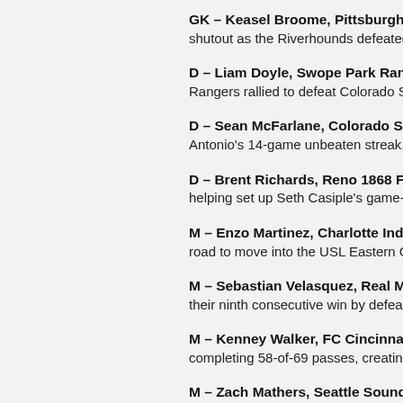GK – Keasel Broome, Pittsburgh Rive... shutout as the Riverhounds defeated the...
D – Liam Doyle, Swope Park Rangers: Rangers rallied to defeat Colorado Sprin...
D – Sean McFarlane, Colorado Spring... Antonio's 14-game unbeaten streak, ano...
D – Brent Richards, Reno 1868 FC: Ri... helping set up Seth Casiple's game-winn...
M – Enzo Martinez, Charlotte Indepen... road to move into the USL Eastern Confe...
M – Sebastian Velasquez, Real Monar... their ninth consecutive win by defeating M...
M – Kenney Walker, FC Cincinnati: Wa... completing 58-of-69 passes, creating thr...
M – Zach Mathers, Seattle Sounders F... S2's 3-2 victory against OKC Energy FC